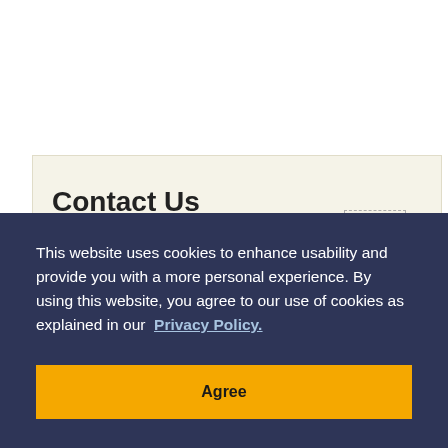Contact Us
This website uses cookies to enhance usability and provide you with a more personal experience. By using this website, you agree to our use of cookies as explained in our Privacy Policy.
Agree